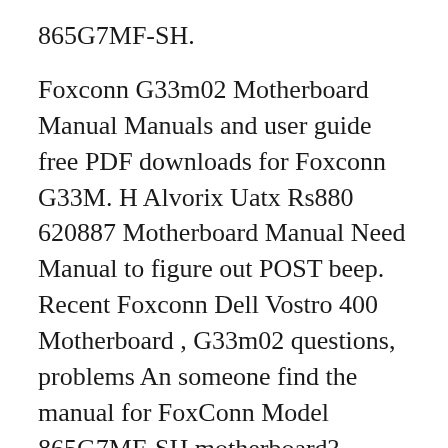865G7MF-SH.
Foxconn G33m02 Motherboard Manual Manuals and user guide free PDF downloads for Foxconn G33M. H Alvorix Uatx Rs880 620887 Motherboard Manual Need Manual to figure out POST beep. Recent Foxconn Dell Vostro 400 Motherboard , G33m02 questions, problems An someone find the manual for FoxConn Model 865G7MF-SH motherboard? Foxconn 865G7MC-S Manual Foxconn 865G7MF-SH Manual Foxconn 865GV7AF-8EKS Manual Foxconn 865GV7MC-ES Manual Foxconn 865GV7MC-S Manual Foxconn 865GV7MF-SH Manual Foxconn 865M01-G-6ELS Manual Foxconn 865M01-G-6LS Manual Foxconn 865M01-PE-6LS Manual Foxconn 865M06-G-